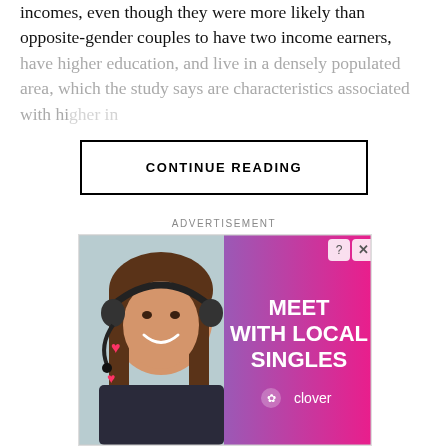incomes, even though they were more likely than opposite-gender couples to have two income earners, have higher education, and live in a densely populated area, which the study says are characteristics associated with higher incomes.
CONTINUE READING
ADVERTISEMENT
[Figure (photo): Advertisement banner for Clover dating app showing a smiling woman wearing a headset on the left side with a pink-to-purple gradient background on the right side with text 'MEET WITH LOCAL SINGLES' and the Clover logo. Pink heart emojis are overlaid on the photo. A question mark and X button appear in the top right corner.]